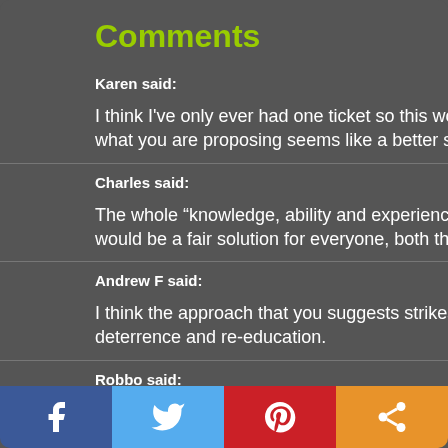Comments
Karen said:
I think I've only ever had one ticket so this would probably never a what you are proposing seems like a better system than what is c
Charles said:
The whole “knowledge, ability and experience” approach appeals would be a fair solution for everyone, both the offender and other
Andrew F said:
I think the approach that you suggests strikes a balance between deterrence and re-education.
Robbo said:
How ridiculous! The disqualification is punishment enough. Why i person that is down on their luck?